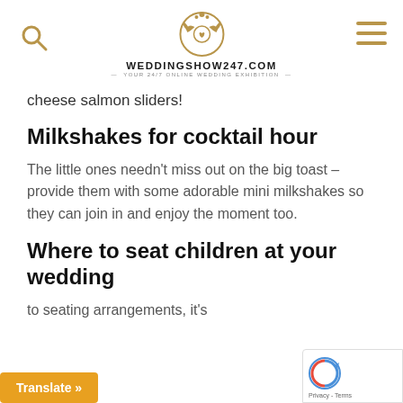WEDDINGSHOW247.COM — YOUR 24/7 ONLINE WEDDING EXHIBITION
cheese salmon sliders!
Milkshakes for cocktail hour
The little ones needn't miss out on the big toast – provide them with some adorable mini milkshakes so they can join in and enjoy the moment too.
Where to seat children at your wedding
to seating arrangements, it's